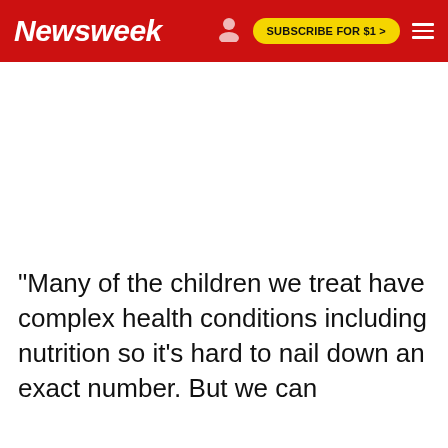Newsweek | SUBSCRIBE FOR $1 >
"Many of the children we treat have complex health conditions including nutrition so it's hard to nail down an exact number. But we can